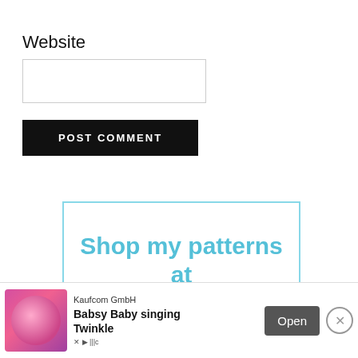Website
[Figure (other): Website input text field (empty)]
[Figure (other): POST COMMENT button (black background, white uppercase text)]
[Figure (other): Box with light blue border containing text: Shop my patterns at]
Blank Slate
[Figure (other): Advertisement banner: Kaufcom GmbH - Babsy Baby singing Twinkle, with Open button and close X button]